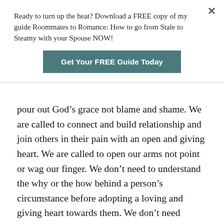Ready to turn up the heat? Download a FREE copy of my guide Roommates to Romance: How to go from Stale to Steamy with your Spouse NOW!
Get Your FREE Guide Today
pour out God’s grace not blame and shame. We are called to connect and build relationship and join others in their pain with an open and giving heart. We are called to open our arms not point or wag our finger. We don’t need to understand the why or the how behind a person’s circumstance before adopting a loving and giving heart towards them. We don’t need details to press in, break bread, connect, love.